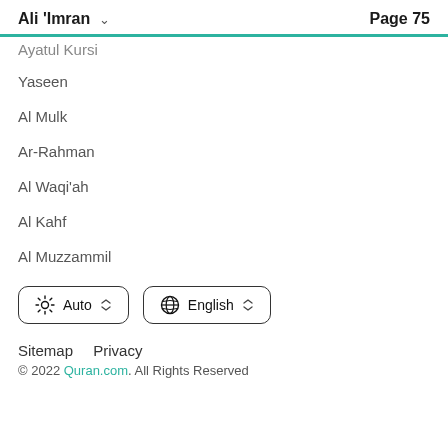Ali 'Imran   Page 75
Ayatul Kursi
Yaseen
Al Mulk
Ar-Rahman
Al Waqi'ah
Al Kahf
Al Muzzammil
Auto   English
Sitemap   Privacy
© 2022 Quran.com. All Rights Reserved